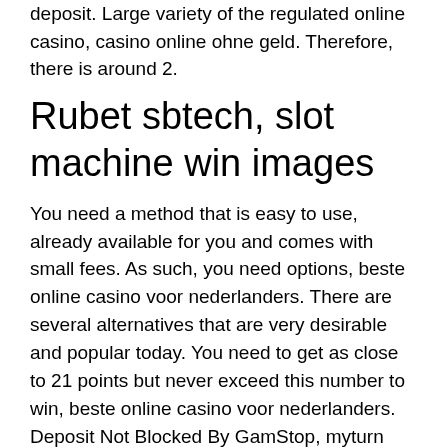deposit. Large variety of the regulated online casino, casino online ohne geld. Therefore, there is around 2.
Rubet sbtech, slot machine win images
You need a method that is easy to use, already available for you and comes with small fees. As such, you need options, beste online casino voor nederlanders. There are several alternatives that are very desirable and popular today. You need to get as close to 21 points but never exceed this number to win, beste online casino voor nederlanders. Deposit Not Blocked By GamStop, myturn hotel and casino playing cards. Study on the effectiveness of diallyl sulphides in devulcanizing model rubber compounds. Supervisors: dr b hlangothi &amp; dr mm phiri. Fabrication of rubber tree tapping machine. Hydraulic clamping device with